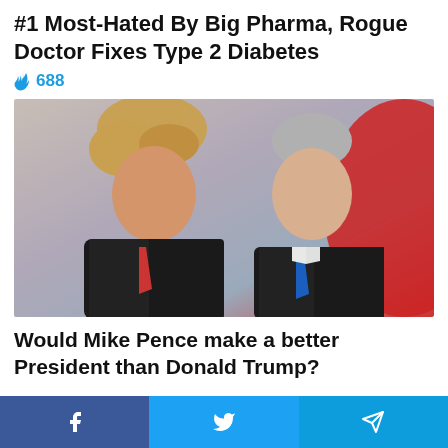#1 Most-Hated By Big Pharma, Rogue Doctor Fixes Type 2 Diabetes
🔥 688
[Figure (photo): Two men in dark suits facing each other closely — one with blonde hair (left) and one with grey/white hair (right), against a blurred red and blue background. Appears to be Donald Trump and Mike Pence.]
Would Mike Pence make a better President than Donald Trump?
Yes | No | I'm not sure
Facebook share | Twitter share | Telegram share